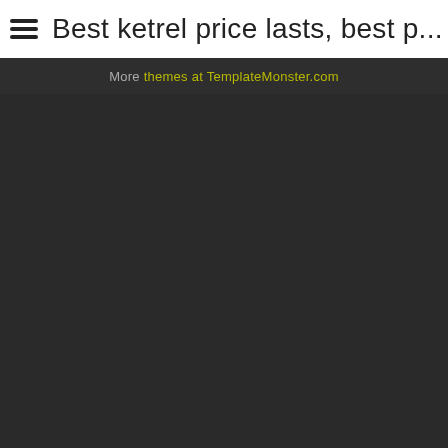Best ketrel price lasts, best p...
More themes at TemplateMonster.com